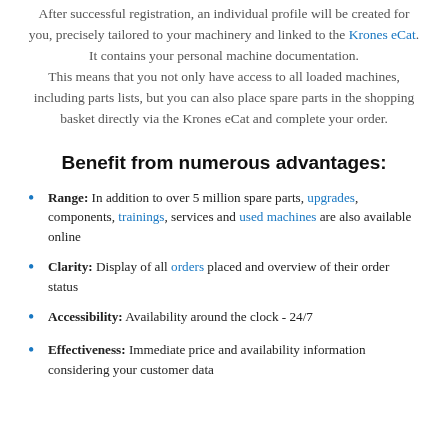After successful registration, an individual profile will be created for you, precisely tailored to your machinery and linked to the Krones eCat. It contains your personal machine documentation. This means that you not only have access to all loaded machines, including parts lists, but you can also place spare parts in the shopping basket directly via the Krones eCat and complete your order.
Benefit from numerous advantages:
Range: In addition to over 5 million spare parts, upgrades, components, trainings, services and used machines are also available online
Clarity: Display of all orders placed and overview of their order status
Accessibility: Availability around the clock - 24/7
Effectiveness: Immediate price and availability information considering your customer data